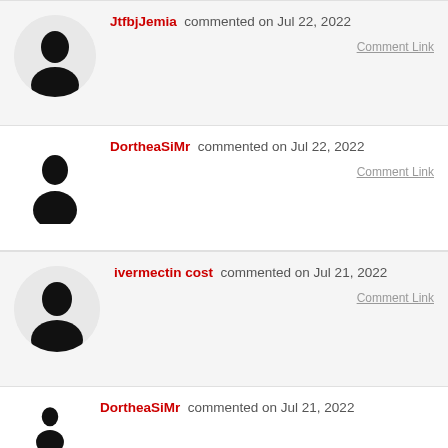JtfbjJemia commented on Jul 22, 2022
Comment Link
DortheaSiMr commented on Jul 22, 2022
Comment Link
ivermectin cost commented on Jul 21, 2022
Comment Link
DortheaSiMr commented on Jul 21, 2022